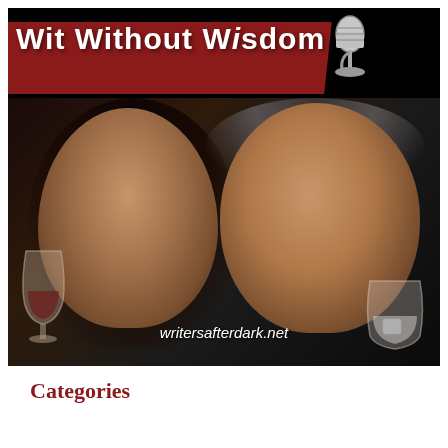[Figure (photo): Podcast cover art for 'Wit Without Wisdom' showing a red diagonal banner with white text and a microphone icon at top, two people (a woman holding a wine glass on the left and a man holding a glass on the right) against a dark background, with website 'writersafterdark.net' overlaid at the bottom.]
Categories